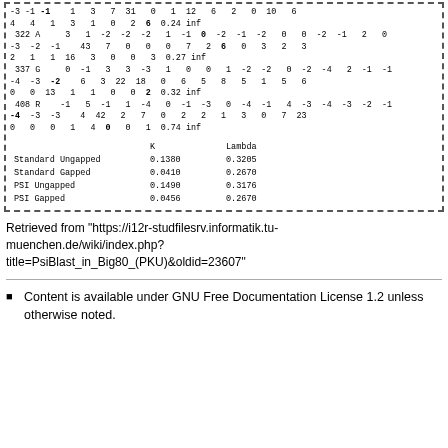| -3 | -1 | -1 | 1 | 3 | 7 | 31 | 0 | 1 | 12 | 6 | 2 | 0 | 10 | 6 |
| 4 | 4 | 1 | 3 | 1 | 0 | 2 | 6 | 0.24 | inf |
| 322 A | 3 | 1 | -2 | -2 | -2 | 1 | -1 | 0 | -2 | -1 | -2 | 0 | 0 | -2 | -1 | 2 | 0 |
| -3 | -2 | -1 | 43 | 7 | 0 | 0 | 0 | 7 | 2 | 6 | 0 | 3 | 2 | 3 |
| 2 | 1 | 1 | 16 | 3 | 0 | 0 | 3 | 0.27 | inf |
| 337 G | 0 | -1 | 3 | 3 | -3 | 1 | 0 | 0 | 1 | -2 | -2 | 0 | -2 | -4 | 2 | -1 | -1 |
| -4 | -3 | -2 | 6 | 3 | 22 | 18 | 0 | 6 | 5 | 8 | 5 | 1 | 5 | 6 |
| 0 | 0 | 13 | 1 | 1 | 0 | 0 | 2 | 0.32 | inf |
| 408 R | -1 | 5 | -1 | 1 | -4 | 0 | -1 | -3 | 0 | -4 | -1 | 4 | -3 | -4 | -3 | -2 | -1 |
| -4 | -3 | -3 | 4 | 42 | 2 | 7 | 0 | 2 | 2 | 1 | 3 | 0 | 7 | 23 |
| 0 | 0 | 0 | 1 | 4 | 0 | 0 | 1 | 0.74 | inf |
|  | K | Lambda |
| --- | --- | --- |
| Standard Ungapped | 0.1380 | 0.3205 |
| Standard Gapped | 0.0410 | 0.2670 |
| PSI Ungapped | 0.1490 | 0.3176 |
| PSI Gapped | 0.0456 | 0.2670 |
Retrieved from "https://i12r-studfilesrv.informatik.tu-muenchen.de/wiki/index.php?title=PsiBlast_in_Big80_(PKU)&oldid=23607"
Content is available under GNU Free Documentation License 1.2 unless otherwise noted.